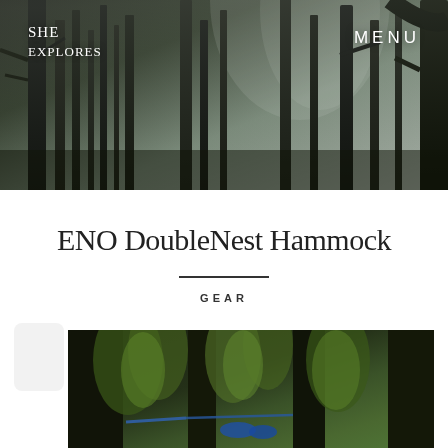[Figure (photo): Dark misty forest with tall thin trees, foggy atmospheric background used as website header banner]
SHE EXPLORES
MENU
ENO DoubleNest Hammock
GEAR
[Figure (photo): A blue hammock strung between trees in a lush green forest with tall conifers]